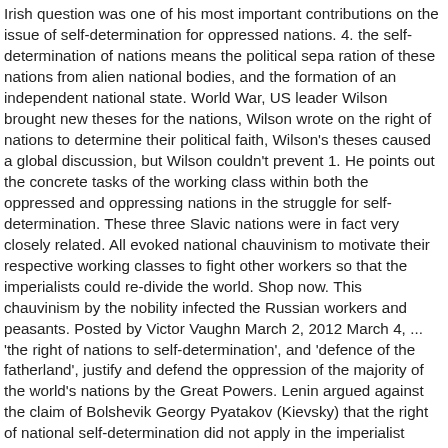Irish question was one of his most important contributions on the issue of self-determination for oppressed nations. 4. the self-determination of nations means the political sepa ration of these nations from alien national bodies, and the formation of an independent national state. World War, US leader Wilson brought new theses for the nations, Wilson wrote on the right of nations to determine their political faith, Wilson's theses caused a global discussion, but Wilson couldn't prevent 1. He points out the concrete tasks of the working class within both the oppressed and oppressing nations in the struggle for self-determination. These three Slavic nations were in fact very closely related. All evoked national chauvinism to motivate their respective working classes to fight other workers so that the imperialists could re-divide the world. Shop now. This chauvinism by the nobility infected the Russian workers and peasants. Posted by Victor Vaughn March 2, 2012 March 4, ... 'the right of nations to self-determination', and 'defence of the fatherland', justify and defend the oppression of the majority of the world's nations by the Great Powers. Lenin argued against the claim of Bolshevik Georgy Pyatakov (Kievsky) that the right of national self-determination did not apply in the imperialist epoch. Lenin and the national question. Unification into nation-states laid the basis for the development of capitalism and the further development of the working class. Lenin compared the right of self-determination to the right of divorce (writing at a time when it was difficult for a woman to obtain one). The party had